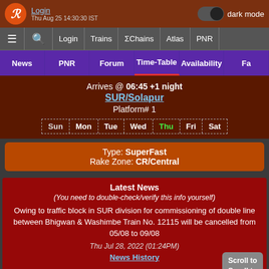Login  dark mode  Thu Aug 25 14:30:30 IST
≡  🔍  Login  Trains  ΣChains  Atlas  PNR
News | PNR | Forum | Time-Table | Availability | Fa
Arrives @ 06:45 +1 night
SUR/Solapur
Platform# 1
Sun Mon Tue Wed Thu Fri Sat
Type: SuperFast
Rake Zone: CR/Central
Latest News
(You need to double-check/verify this info yourself)
Owing to traffic block in SUR division for commissioning of double line between Bhigwan & Washimbe Train No. 12115 will be cancelled from 05/08 to 09/08
Thu Jul 28, 2022 (01:24PM)
News History